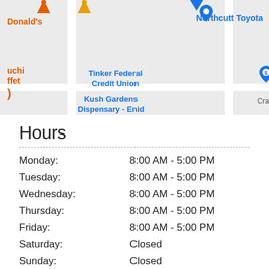[Figure (map): Google Maps screenshot showing nearby businesses including McDonald's, Northcutt Toyota, Tinker Federal Credit Union, Kush Gardens Dispensary - Enid, and a partial label 'Cra'. Map pins (location markers) are visible in blue and orange.]
Hours
| Day | Hours |
| --- | --- |
| Monday: | 8:00 AM - 5:00 PM |
| Tuesday: | 8:00 AM - 5:00 PM |
| Wednesday: | 8:00 AM - 5:00 PM |
| Thursday: | 8:00 AM - 5:00 PM |
| Friday: | 8:00 AM - 5:00 PM |
| Saturday: | Closed |
| Sunday: | Closed |
Payment Information
We Accept